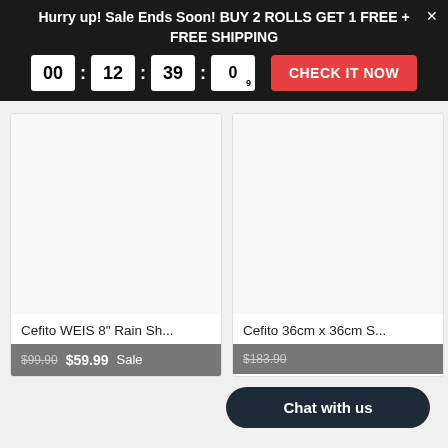Hurry up! Sale Ends Soon! BUY 2 ROLLS GET 1 FREE + FREE SHIPPING
00 : 12 : 39 : 09  CHECK IT NOW
[Figure (screenshot): Product card: Cefito WEIS 8" Rain Sh... with price $99.90 $59.99 Sale]
[Figure (screenshot): Product card: Cefito 36cm x 36cm S... with price $183.90 (partially visible)]
Chat with us